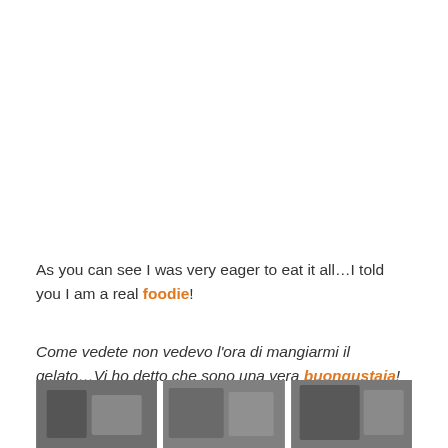As you can see I was very eager to eat it all…I told you I am a real foodie!
Come vedete non vedevo l'ora di mangiarmi il gelato…Vi ho detto che sono una vera buongustaia!
[Figure (photo): Three photo thumbnails of food/gelato scenes shown in a horizontal strip at the bottom of the page]